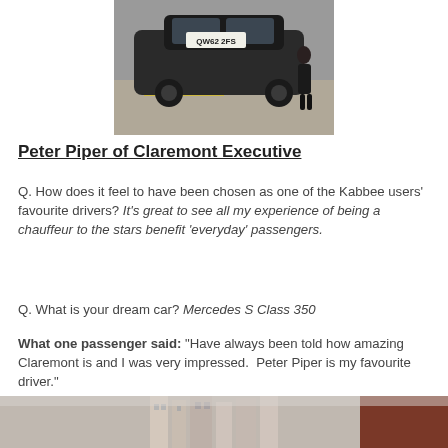[Figure (photo): Person standing next to a black car on a street, car license plate reads QW62 2FS]
Peter Piper of Claremont Executive
Q. How does it feel to have been chosen as one of the Kabbee users' favourite drivers? It's great to see all my experience of being a chauffeur to the stars benefit 'everyday' passengers.
Q. What is your dream car? Mercedes S Class 350
What one passenger said: “Have always been told how amazing Claremont is and I was very impressed.  Peter Piper is my favourite driver.”
[Figure (photo): Street scene with buildings, partial view at bottom of page]